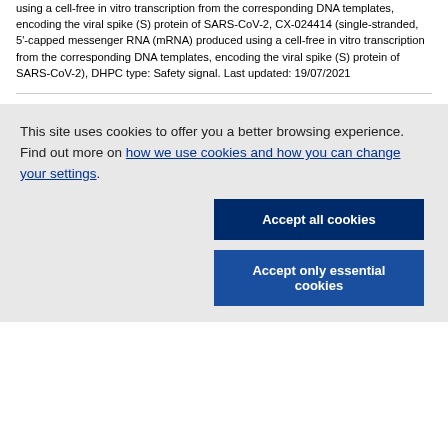using a cell-free in vitro transcription from the corresponding DNA templates, encoding the viral spike (S) protein of SARS-CoV-2, CX-024414 (single-stranded, 5'-capped messenger RNA (mRNA) produced using a cell-free in vitro transcription from the corresponding DNA templates, encoding the viral spike (S) protein of SARS-CoV-2), DHPC type: Safety signal. Last updated: 19/07/2021
This site uses cookies to offer you a better browsing experience. Find out more on how we use cookies and how you can change your settings.
Accept all cookies
Accept only essential cookies